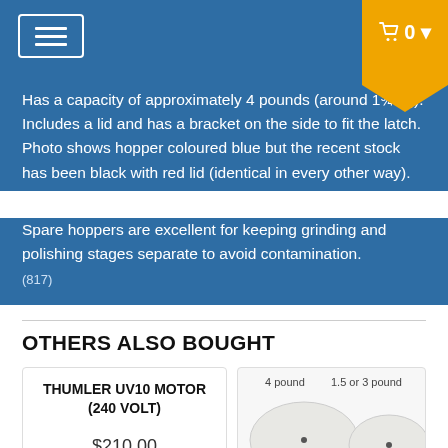☰  🛒 0 ▾
Has a capacity of approximately 4 pounds (around 1¾ kg). Includes a lid and has a bracket on the side to fit the latch. Photo shows hopper coloured blue but the recent stock has been black with red lid (identical in every other way).
Spare hoppers are excellent for keeping grinding and polishing stages separate to avoid contamination.
(817)
OTHERS ALSO BOUGHT
THUMLER UV10 MOTOR (240 VOLT)
$210.00
[Figure (photo): Two round white lids labelled '4 pound' and '1.5 or 3 pound', with text 'Lortone Outer ...' below in red]